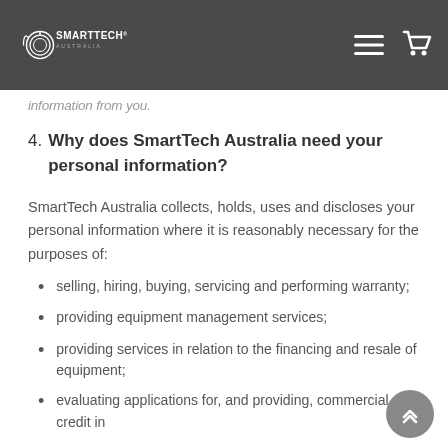SmartTech Australia
information from you.
4. Why does SmartTech Australia need your personal information?
SmartTech Australia collects, holds, uses and discloses your personal information where it is reasonably necessary for the purposes of:
selling, hiring, buying, servicing and performing warranty;
providing equipment management services;
providing services in relation to the financing and resale of equipment;
evaluating applications for, and providing, commercial credit in